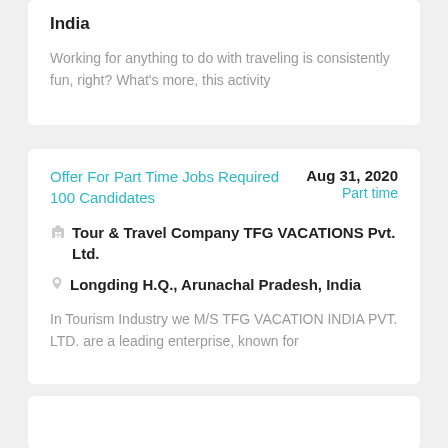India
Working for anything to do with traveling is consistently fun, right? What's more, this activity
Offer For Part Time Jobs Required 100 Candidates
Aug 31, 2020
Part time
Tour & Travel Company TFG VACATIONS Pvt. Ltd.
Longding H.Q., Arunachal Pradesh, India
In Tourism Industry we M/S TFG VACATION INDIA PVT. LTD. are a leading enterprise, known for